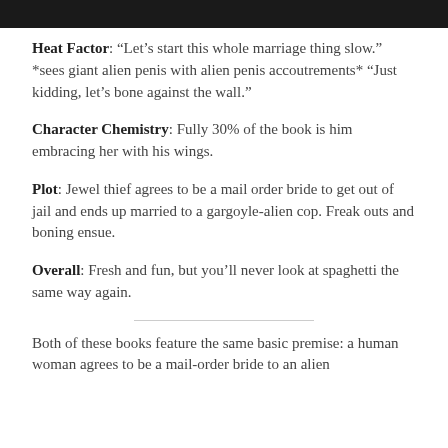[Figure (photo): Partial photo visible at top of page, dark tones]
Heat Factor: “Let’s start this whole marriage thing slow.” *sees giant alien penis with alien penis accoutrements* “Just kidding, let’s bone against the wall.”
Character Chemistry: Fully 30% of the book is him embracing her with his wings.
Plot: Jewel thief agrees to be a mail order bride to get out of jail and ends up married to a gargoyle-alien cop. Freak outs and boning ensue.
Overall: Fresh and fun, but you’ll never look at spaghetti the same way again.
Both of these books feature the same basic premise: a human woman agrees to be a mail-order bride to an alien